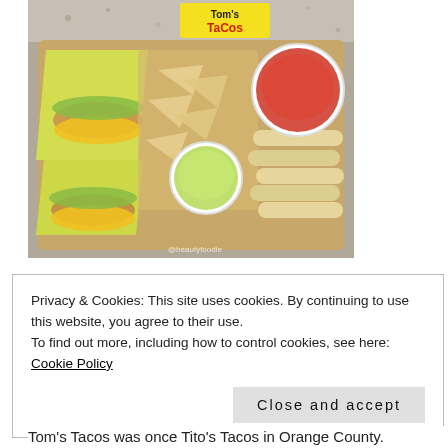[Figure (photo): Overhead photo of Tom's Tacos food spread: tacos wrapped in yellow paper with shredded cheese and lettuce, rolled taquitos, tortilla chips, a cup of guacamole, and a cup of red salsa, in a cardboard tray. Logo sticker reads 'Tom's TaCos' in yellow background with red text. Watermark: @beautyfoodie]
Privacy & Cookies: This site uses cookies. By continuing to use this website, you agree to their use.
To find out more, including how to control cookies, see here: Cookie Policy
Close and accept
Tom's Tacos was once Tito's Tacos in Orange County.